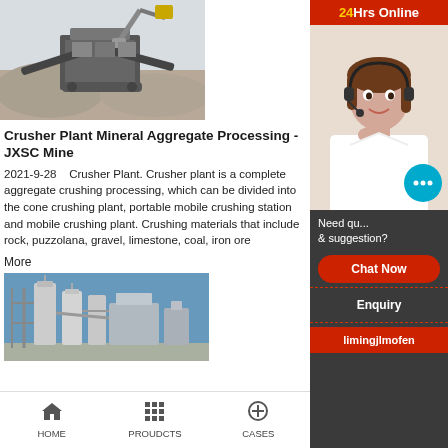[Figure (photo): Crusher plant with excavator at a mine site, large machinery processing rocks and gravel outdoors.]
Crusher Plant Mineral Aggregate Processing - JXSC Mine
2021-9-28   Crusher Plant. Crusher plant is a complete aggregate crushing processing, which can be divided into the cone crushing plant, portable mobile crushing station and mobile crushing plant. Crushing materials that include rock, puzzolana, gravel, limestone, coal, iron ore
More
[Figure (photo): Industrial factory/plant with tall metal silos and processing equipment against a blue sky.]
[Figure (photo): Customer service agent (woman with headset smiling) under a 24Hrs Online red banner on sidebar.]
Need qu... & suggestion?
Chat Now
Enquiry
limingjlmofen
HOME   PROUDCTS   CASES